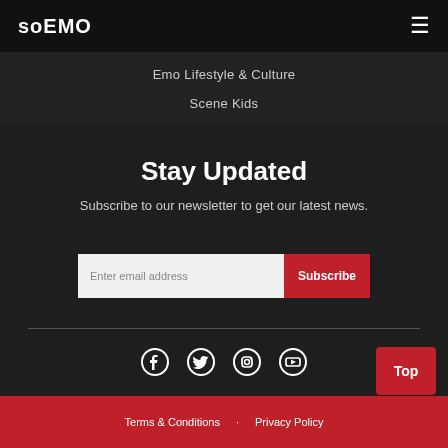soEMO
Emo Lifestyle & Culture
Scene Kids
Stay Updated
Subscribe to our newsletter to get our latest news.
Enter email address | Subscribe
Terms & Conditions · Privacy Policy